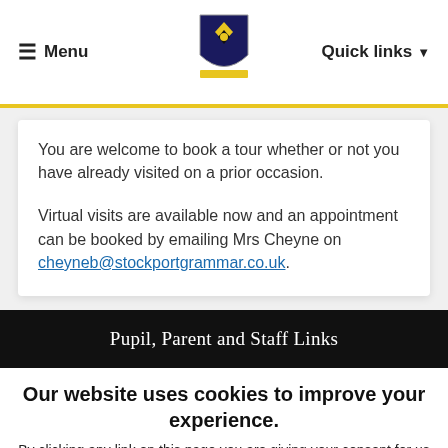≡ Menu  [School Logo]  Quick links ▾
You are welcome to book a tour whether or not you have already visited on a prior occasion.
Virtual visits are available now and an appointment can be booked by emailing Mrs Cheyne on cheyneb@stockportgrammar.co.uk.
Pupil, Parent and Staff Links
Our website uses cookies to improve your experience.
By clicking any link on this page you are giving your consent for us to use cookies.
ACCEPT   Read More